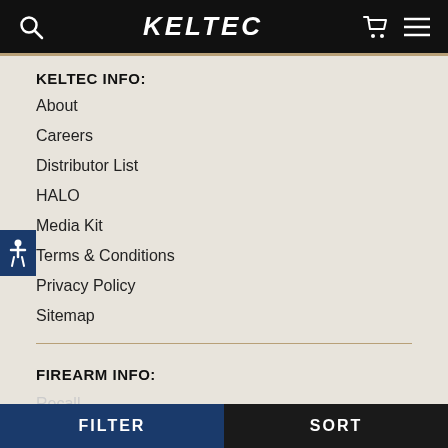KELTEC
KELTEC INFO:
About
Careers
Distributor List
HALO
Media Kit
Terms & Conditions
Privacy Policy
Sitemap
FIREARM INFO:
FILTER  SORT